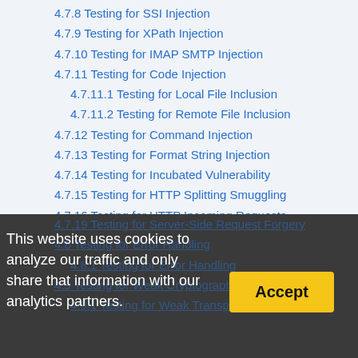4.7.8 Testing for SSI Injection
4.7.9 Testing for XPath Injection
4.7.10 Testing for IMAP SMTP Injection
4.7.11 Testing for Code Injection
4.7.11.1 Testing for Local File Inclusion
4.7.11.2 Testing for Remote File Inclusion
4.7.12 Testing for Command Injection
4.7.13 Testing for Format String Injection
4.7.14 Testing for Incubated Vulnerability
4.7.15 Testing for HTTP Splitting Smuggling
4.7.16 Testing for HTTP Incoming Requests
4.7.17 Testing for Host Header Injection
4.7.18 Testing for Server-side Template Injection
4.7.19 Testing for Server-Side Request Forgery
4.8 Testing for Error Handling
4.8.1 Testing for Error Handling
4.8.2 ...
4.9 Testing for Weak Cryptography
4.9.1 Testing for Weak Transport Layer Security